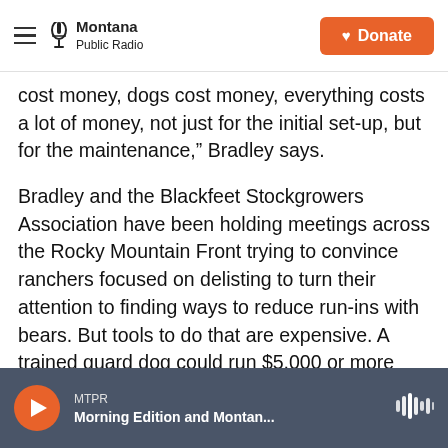Montana Public Radio | Donate
cost money, dogs cost money, everything costs a lot of money, not just for the initial set-up, but for the maintenance,” Bradley says.
Bradley and the Blackfeet Stockgrowers Association have been holding meetings across the Rocky Mountain Front trying to convince ranchers focused on delisting to turn their attention to finding ways to reduce run-ins with bears. But tools to do that are expensive. A trained guard dog could run $5,000 or more and an electric fence around a calving lot can easily cost over $10,000 depending on the size. That price tag can be a huge turnoff to
MTPR | Morning Edition and Montan...